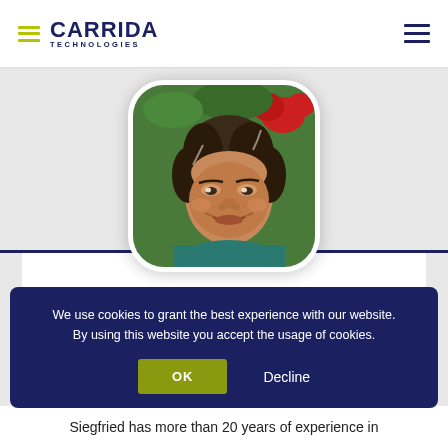[Figure (logo): Carrida Technologies logo with yellow-green horizontal lines and dark blue text]
[Figure (photo): Profile photo of Siegfried, a middle-aged man with dark wavy hair, smiling, in a rounded square frame]
We use cookies to grant the best experience with our website. By using this website you accept the usage of cookies.
OK
Decline
Siegfried has more than 20 years of experience in